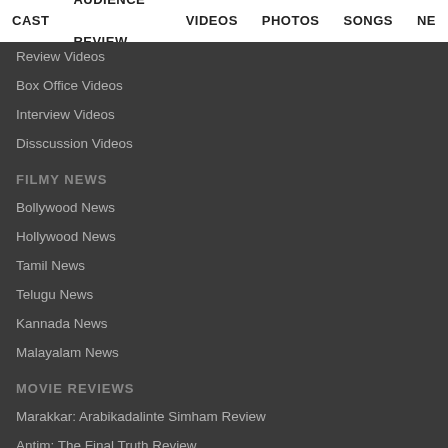CAST  AUDIENCE REVIEW  VIDEOS  PHOTOS  SONGS  NE...
Review Videos
Box Office Videos
Interview Videos
Disscussion Videos
FILMY NEWS
Bollywood News
Hollywood News
Tamil News
Telugu News
Kannada News
Malayalam News
MOVIE REVIEWS
Marakkar: Arabikadalinte Simham Review
Antim: The Final Truth Review
Chhorii Review
Satyameva Jayate 2 Review
Bunty Aur Babli 2(2020) Review